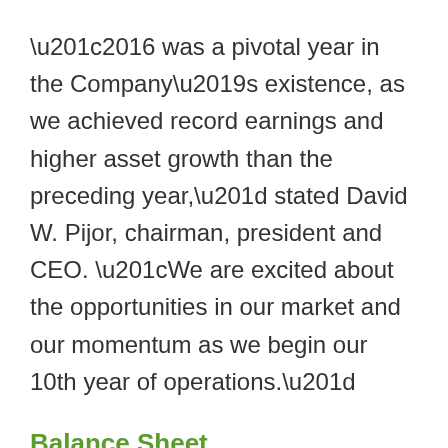‘2016 was a pivotal year in the Company’s existence, as we achieved record earnings and higher asset growth than the preceding year,” stated David W. Pijor, chairman, president and CEO. “We are excited about the opportunities in our market and our momentum as we begin our 10th year of operations.”
Balance Sheet
Total assets increased to $909.3 million, compared with $737.0 million